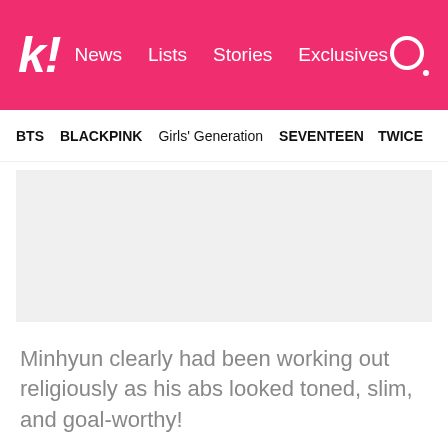k! News Lists Stories Exclusives
BTS  BLACKPINK  Girls' Generation  SEVENTEEN  TWICE
[Figure (other): Gray advertisement placeholder block]
Minhyun clearly had been working out religiously as his abs looked toned, slim, and goal-worthy!
[Figure (photo): Close-up photo of a person wearing a white outfit against a dark blue background, with partial view of torso/arm area]